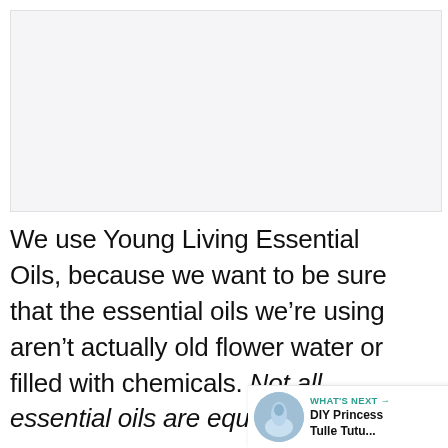[Figure (photo): A light gray image placeholder area at the top of the page, likely a photo that did not load or is blank.]
We use Young Living Essential Oils, because we want to be sure that the essential oils we’re using aren’t actually old flower water or filled with chemicals. Not all essential oils are equal!!